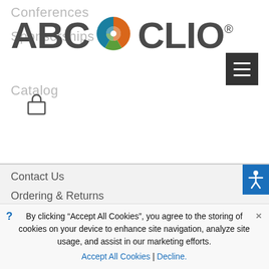[Figure (logo): ABC CLIO logo with circular icon featuring teal, green, and orange colors]
Conferences
Sponsorships
Catalog
[Figure (other): Hamburger menu button (three horizontal lines) on dark background]
[Figure (other): Lock/shopping bag icon]
Contact Us
Ordering & Returns
Exam, Desk, Media & Review Copies
[Figure (other): Accessibility icon (person with arms out) on blue background]
By clicking “Accept All Cookies”, you agree to the storing of cookies on your device to enhance site navigation, analyze site usage, and assist in our marketing efforts.
Accept All Cookies | Decline.